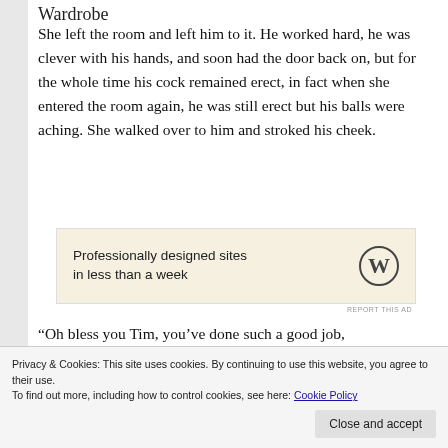Wardrobe
She left the room and left him to it. He worked hard, he was clever with his hands, and soon had the door back on, but for the whole time his cock remained erect, in fact when she entered the room again, he was still erect but his balls were aching. She walked over to him and stroked his cheek.
[Figure (other): WordPress advertisement banner: 'Professionally designed sites in less than a week' with WordPress logo]
REPORT THIS AD
“Oh bless you Tim, you’ve done such a good job, and under such difficult circumstances, you
Privacy & Cookies: This site uses cookies. By continuing to use this website, you agree to their use.
To find out more, including how to control cookies, see here: Cookie Policy
Close and accept